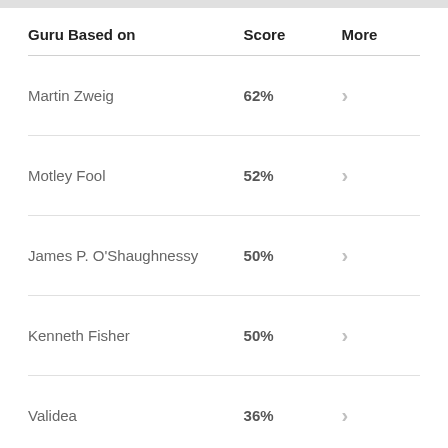| Guru Based on | Score | More |
| --- | --- | --- |
| Martin Zweig | 62% | > |
| Motley Fool | 52% | > |
| James P. O'Shaughnessy | 50% | > |
| Kenneth Fisher | 50% | > |
| Validea | 36% | > |